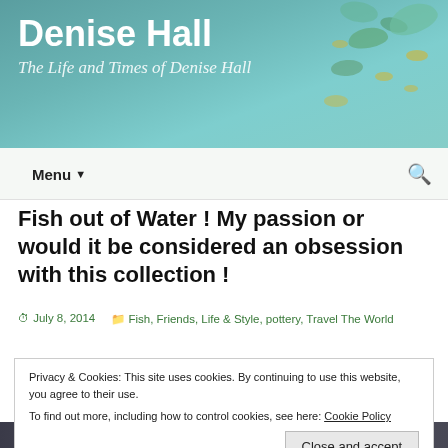Denise Hall — The Life and Times of Denise Hall
Fish out of Water ! My passion or would it be considered an obsession with this collection !
July 8, 2014   Fish, Friends, Life & Style, pottery, Travel The World
Privacy & Cookies: This site uses cookies. By continuing to use this website, you agree to their use.
To find out more, including how to control cookies, see here: Cookie Policy
Close and accept